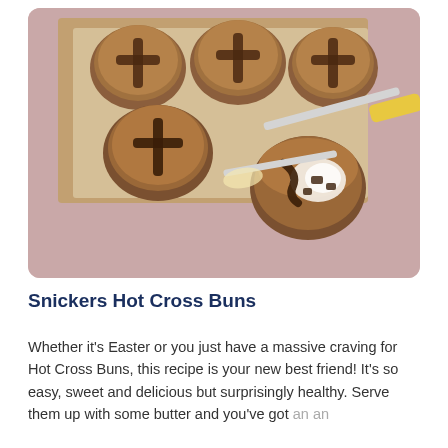[Figure (photo): Overhead photo of Snickers Hot Cross Buns on a wooden board with parchment paper. Several round buns have chocolate cross designs piped on top. Two buns at the bottom are split open showing butter and chocolate filling. A knife with a yellow handle is visible on the right side. Background is a dusty pink color.]
Snickers Hot Cross Buns
Whether it's Easter or you just have a massive craving for Hot Cross Buns, this recipe is your new best friend! It's so easy, sweet and delicious but surprisingly healthy. Serve them up with some butter and you've got an an